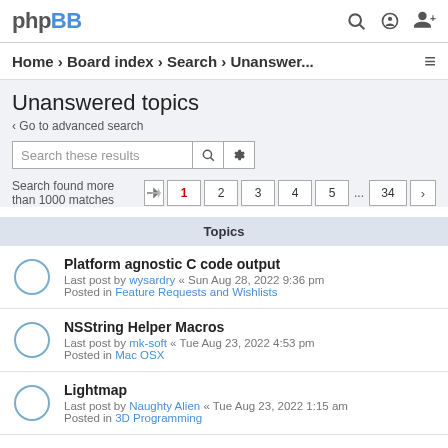phpBB
Home › Board index › Search › Unanswer...
Unanswered topics
‹ Go to advanced search
Search these results
Search found more than 1000 matches   1 2 3 4 5 ... 34
Topics
Platform agnostic C code output
Last post by wysardry « Sun Aug 28, 2022 9:36 pm
Posted in Feature Requests and Wishlists
NSString Helper Macros
Last post by mk-soft « Tue Aug 23, 2022 4:53 pm
Posted in Mac OSX
Lightmap
Last post by Naughty Alien « Tue Aug 23, 2022 1:15 am
Posted in 3D Programming